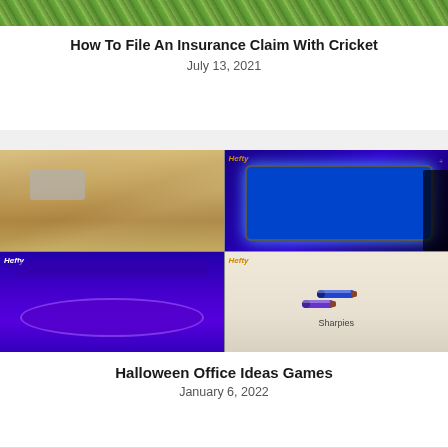[Figure (photo): Green grass/hedge background image at top of page]
How To File An Insurance Claim With Cricket
July 13, 2021
[Figure (photo): 2x2 grid of images: top-left shows hands writing on a phone with a pen, top-right shows a UV light illuminating a phone screen in dark (labeled Hefty), bottom-left shows a UV-lit toilet bowl in purple light (labeled Hefty), bottom-right shows two Sharpie markers labeled 'Sharpies' (labeled Hefty)]
Halloween Office Ideas Games
January 6, 2022